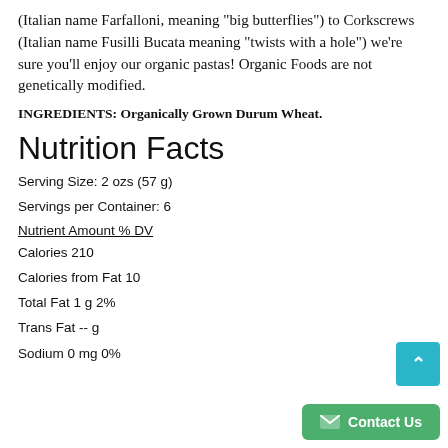(Italian name Farfalloni, meaning "big butterflies") to Corkscrews (Italian name Fusilli Bucata meaning "twists with a hole") we're sure you'll enjoy our organic pastas! Organic Foods are not genetically modified.
INGREDIENTS: Organically Grown Durum Wheat.
Nutrition Facts
Serving Size: 2 ozs (57 g)
Servings per Container: 6
Nutrient Amount % DV
Calories 210
Calories from Fat 10
Total Fat 1 g 2%
Trans Fat -- g
Sodium 0 mg 0%